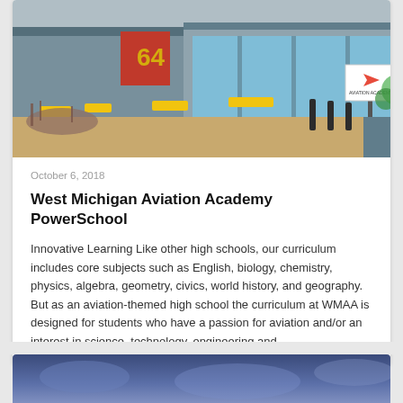[Figure (photo): Exterior of West Michigan Aviation Academy building with yellow benches, landscaping, and an aviation academy sign visible]
October 6, 2018
West Michigan Aviation Academy PowerSchool
Innovative Learning Like other high schools, our curriculum includes core subjects such as English, biology, chemistry, physics, algebra, geometry, civics, world history, and geography. But as an aviation-themed high school the curriculum at WMAA is designed for students who have a passion for aviation and/or an interest in science, technology, engineering and…
[Figure (photo): Partial view of a second image with blue/purple sky tones at bottom of page]